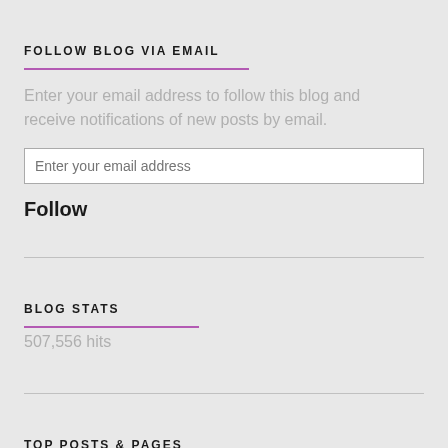FOLLOW BLOG VIA EMAIL
Enter your email address to follow this blog and receive notifications of new posts by email.
Enter your email address
Follow
BLOG STATS
507,556 hits
TOP POSTS & PAGES
Framed (1947)